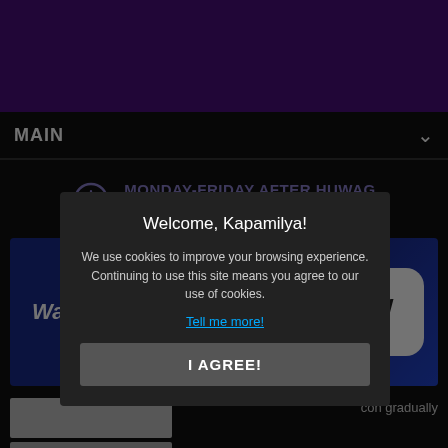[Figure (screenshot): Purple header banner at top of page]
MAIN
MONDAY-FRIDAY AFTER HUWAG KANG MANGAMBA
[Figure (screenshot): Blue banner with 'Watch full episodes' text and iWTFC logo]
Welcome, Kapamilya!
We use cookies to improve your browsing experience. Continuing to use this site means you agree to our use of cookies.
Tell me more!
I AGREE!
con gradually